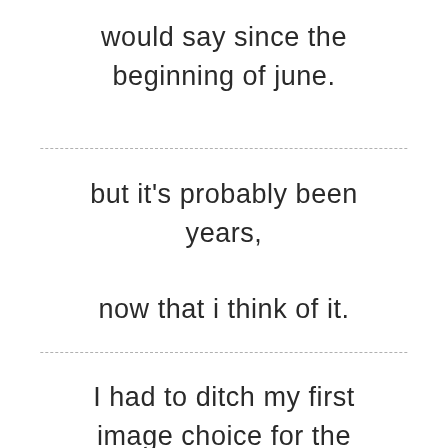would say since the beginning of june.
but it's probably been years,
now that i think of it.
I had to ditch my first image choice for the